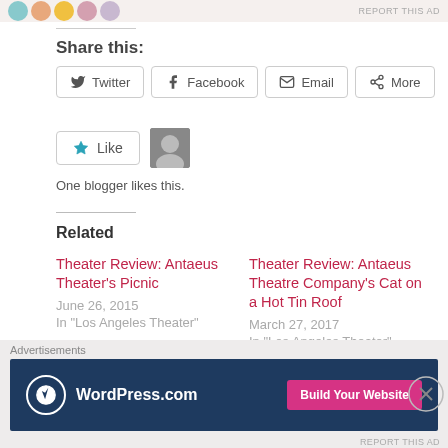Share this:
Twitter  Facebook  Email  More
Like   One blogger likes this.
Related
Theater Review: Antaeus Theater's Picnic
June 26, 2015
In "Los Angeles Theater"
Theater Review: Antaeus Theatre Company's Cat on a Hot Tin Roof
March 27, 2017
In "Los Angeles Theater"
Theater Review: The
Advertisements
[Figure (screenshot): WordPress.com advertisement banner with blue background, WordPress logo, and pink 'Build Your Website' button]